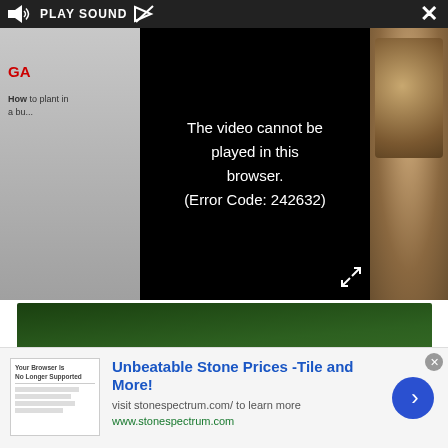[Figure (screenshot): Video player overlay with 'PLAY SOUND' button and error message: 'The video cannot be played in this browser. (Error Code: 242632)'. Close button (X) at top right. Expand icon at bottom right. Thumbnail images visible on left and right sides.]
[Figure (photo): Close-up photograph of purple lavender flowers with green stems and small white pebbles visible at the bottom left corner.]
[Figure (screenshot): Advertisement banner. Shows a browser screenshot thumbnail on the left. Text: 'Unbeatable Stone Prices -Tile and More!' in blue bold. Subtitle: 'visit stonespectrum.com/ to learn more'. URL: 'www.stonespectrum.com' in green. Blue circle arrow button on right.]